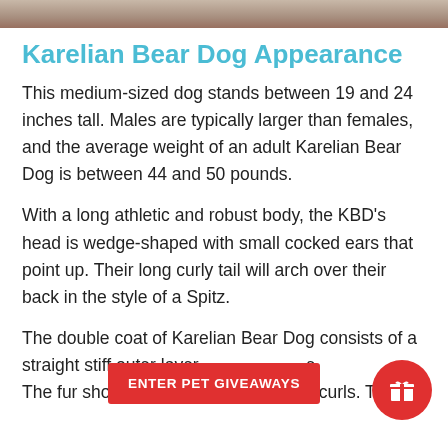[Figure (photo): Partial photo strip of a Karelian Bear Dog at the top of the page]
Karelian Bear Dog Appearance
This medium-sized dog stands between 19 and 24 inches tall. Males are typically larger than females, and the average weight of an adult Karelian Bear Dog is between 44 and 50 pounds.
With a long athletic and robust body, the KBD's head is wedge-shaped with small cocked ears that point up. Their long curly tail will arch over their back in the style of a Spitz.
The double coat of Karelian Bear Dog consists of a straight stiff outer layer and e. The fur should be straight without any curls. The